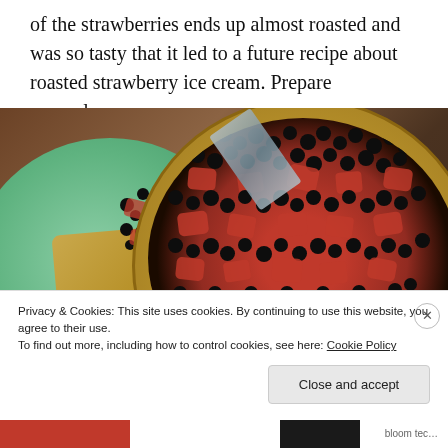of the strawberries ends up almost roasted and was so tasty that it led to a future recipe about roasted strawberry ice cream. Prepare yourselves.
[Figure (photo): A berry tart with strawberries and dark blueberries on a graham cracker crust. A slice is served on a green plate on the left with a fork, and the main tart is visible on the right side.]
Privacy & Cookies: This site uses cookies. By continuing to use this website, you agree to their use.
To find out more, including how to control cookies, see here: Cookie Policy
Close and accept